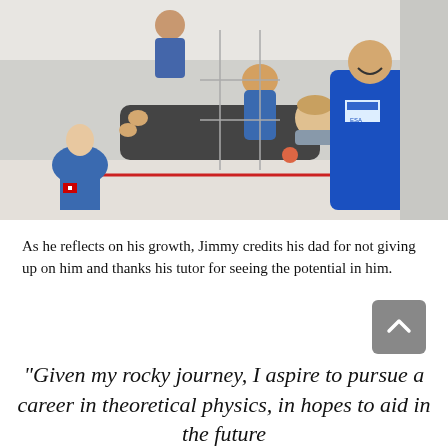[Figure (photo): People floating in zero gravity inside an aircraft. A person in a dark jacket is being held horizontally by a person in a blue ESA flight suit. Other people in blue flight suits are visible in the background, smiling and laughing.]
As he reflects on his growth, Jimmy credits his dad for not giving up on him and thanks his tutor for seeing the potential in him.
“Given my rocky journey, I aspire to pursue a career in theoretical physics, in hopes to aid in the future